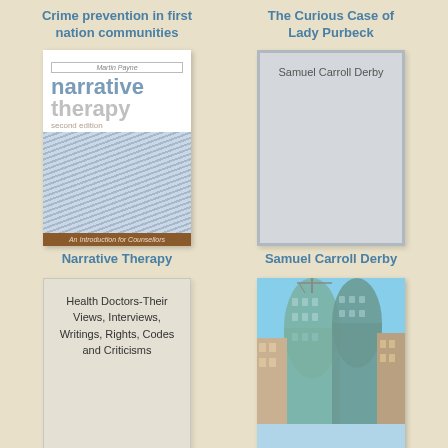Crime prevention in first nation communities
The Curious Case of Lady Purbeck
[Figure (photo): Book cover: Narrative Therapy second edition by Martin Payne, An Introduction for Counsellors]
[Figure (photo): Book cover placeholder: Samuel Carroll Derby, grey cover with author name]
Narrative Therapy
Samuel Carroll Derby
[Figure (photo): Book cover placeholder: Health Doctors-Their Views, Interviews, Writings, Rights, Codes and Criticisms]
[Figure (photo): Photo of a modern curvilinear glass building (Dancing House style architecture) against blue sky with surrounding older buildings]